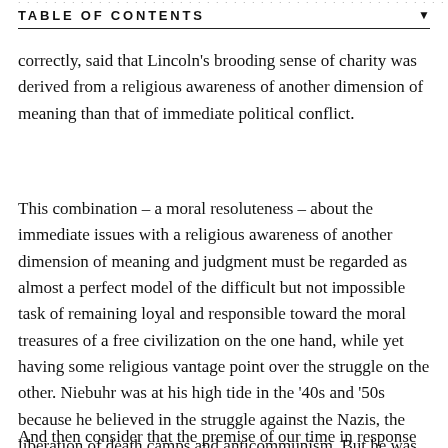TABLE OF CONTENTS
correctly, said that Lincoln's brooding sense of charity was derived from a religious awareness of another dimension of meaning than that of immediate political conflict.
This combination – a moral resoluteness – about the immediate issues with a religious awareness of another dimension of meaning and judgment must be regarded as almost a perfect model of the difficult but not impossible task of remaining loyal and responsible toward the moral treasures of a free civilization on the one hand, while yet having some religious vantage point over the struggle on the other. Niebuhr was at his high tide in the '40s and '50s because he believed in the struggle against the Nazis, the liberation of death camps and anticommunism. But he was not a jingoist. He did not believe America was automatically moral or always right.
And then consider that the premise of our time in response...